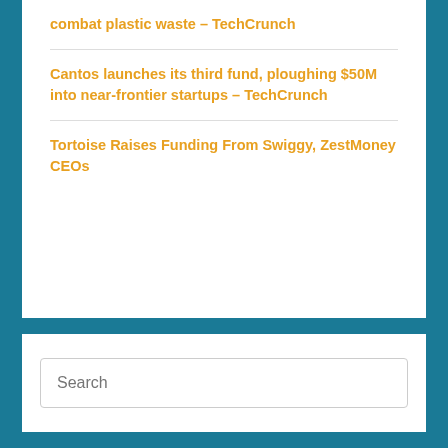combat plastic waste – TechCrunch
Cantos launches its third fund, ploughing $50M into near-frontier startups – TechCrunch
Tortoise Raises Funding From Swiggy, ZestMoney CEOs
Search